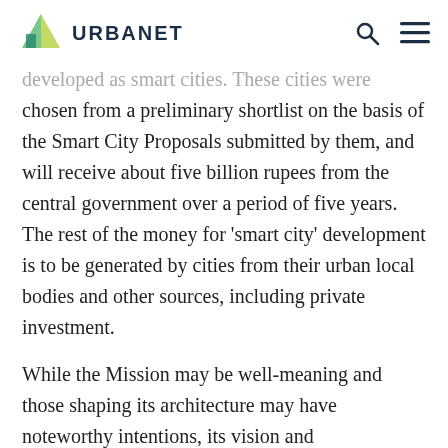URBANET
developed as smart cities. These cities were chosen from a preliminary shortlist on the basis of the Smart City Proposals submitted by them, and will receive about five billion rupees from the central government over a period of five years. The rest of the money for ‘smart city’ development is to be generated by cities from their urban local bodies and other sources, including private investment.
While the Mission may be well-meaning and those shaping its architecture may have noteworthy intentions, its vision and implementation modalities necessitate a candid re-evaluation. After three years of its existence, limited demonstrable